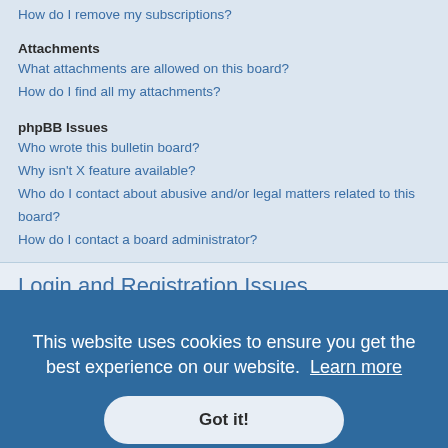How do I remove my subscriptions?
Attachments
What attachments are allowed on this board?
How do I find all my attachments?
phpBB Issues
Who wrote this bulletin board?
Why isn't X feature available?
Who do I contact about abusive and/or legal matters related to this board?
How do I contact a board administrator?
Login and Registration Issues
Why do I need to register?
You may not have to, it is up to the administrator of the board as to whether you need to register in order to post messages. However; registration will give you access to additional features not available to guest users such as definable avatar images, private messaging, emailing of fellow users, usergroup subscription, etc. It only takes a few moments to register and is recommended you do so.
Top
What is COPPA?
This website uses cookies to ensure you get the best experience on our website.  Learn more
Got it!